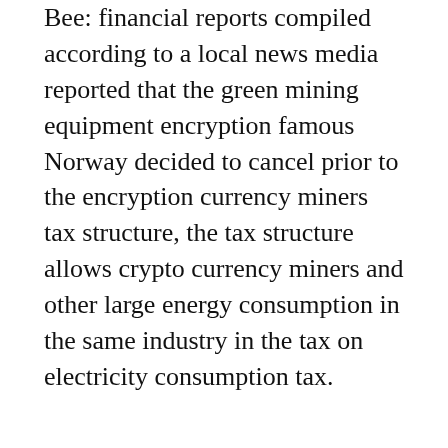Bee: financial reports compiled according to a local news media reported that the green mining equipment encryption famous Norway decided to cancel prior to the encryption currency miners tax structure, the tax structure allows crypto currency miners and other large energy consumption in the same industry in the tax on electricity consumption tax.
A man named Lars Haltbrekken representative told Aftenposten: “Norway cannot continue to provide huge tax incentives for bitcoin the most dirty encryption monetary output form. It takes a lot of energy, and produce large amounts of greenhouse gas emissions in the